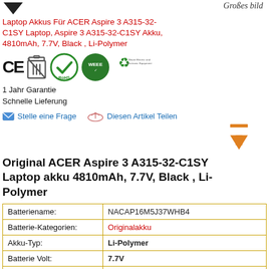[Figure (illustration): Product image area with small black arrow/chevron icon on left and italic text 'Großes bild' on right]
Laptop Akkus Für ACER Aspire 3 A315-32-C1SY Laptop, Aspire 3 A315-32-C1SY Akku, 4810mAh, 7.7V, Black , Li-Polymer
[Figure (illustration): Row of certification badges: CE mark, crossed-out trash can (WEEE), RoHS green checkmark circle, WEEE green circle, recycling symbol with 'Waste Electric and Electronic Equipment' text]
1 Jahr Garantie
Schnelle Lieferung
Stelle eine Frage   Diesen Artikel Teilen
[Figure (illustration): Orange upward arrow icon with horizontal bar on top]
Original ACER Aspire 3 A315-32-C1SY Laptop akku 4810mAh, 7.7V, Black , Li-Polymer
|  |  |
| --- | --- |
| Batteriename: | NACAP16M5J37WHB4 |
| Batterie-Kategorien: | Originalakku |
| Akku-Typ: | Li-Polymer |
| Batterie Volt: | 7.7V |
| Batterie-Kapazität: | 4810mAh |